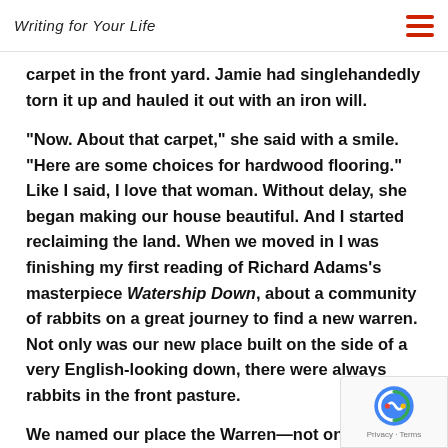Writing for Your Life
carpet in the front yard. Jamie had singlehandedly torn it up and hauled it out with an iron will.

"Now. About that carpet," she said with a smile. "Here are some choices for hardwood flooring." Like I said, I love that woman. Without delay, she began making our house beautiful. And I started reclaiming the land. When we moved in I was finishing my first reading of Richard Adams's masterpiece Watership Down, about a community of rabbits on a great journey to find a new warren. Not only was our new place built on the side of a very English-looking down, there were always rabbits in the front pasture.

We named our place the Warren—not only because our